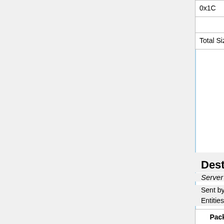| Packet ID | Field Name | Field Type | Example | Notes |
| --- | --- | --- | --- | --- |
| 0x1C | Velocity Y | short | 0 | Velocity on the Y axis |
|  | Velocity Z | short | 0 | Velocity on the Z axis |
| Total Size: | 11 bytes |  |  |  |
Destroy Entity (0x1D)
Server to Client
Sent by the server when an list of Entities is to be destroyed on the client.
| Packet ID | Field Name | Field Type | Example | Notes |
| --- | --- | --- | --- | --- |
|  |  |  |  | The |